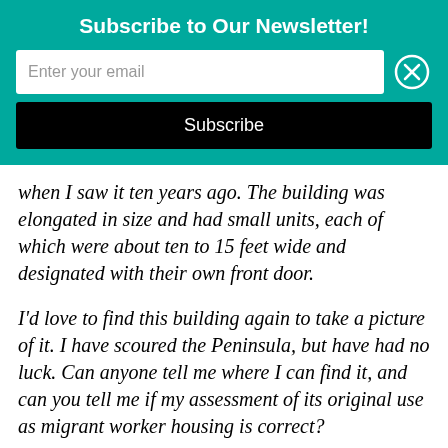Subscribe to Our Newsletter!
Enter your email
Subscribe
when I saw it ten years ago. The building was elongated in size and had small units, each of which were about ten to 15 feet wide and designated with their own front door.
I'd love to find this building again to take a picture of it. I have scoured the Peninsula, but have had no luck. Can anyone tell me where I can find it, and can you tell me if my assessment of its original use as migrant worker housing is correct?
I asked David if he could give us any clues as to where the building might have been located on the Peninsula – even a